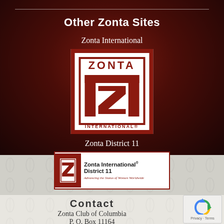Other Zonta Sites
Zonta International
[Figure (logo): Zonta International logo: white background with dark red/maroon bordered square containing stylized 'Z' letter formed by angular shapes, with 'ZONTA' text at top and 'INTERNATIONAL®' text at bottom]
Zonta District 11
[Figure (logo): Zonta International District 11 banner logo with small Zonta icon on left, text 'Zonta International® District 11' in bold and italic tagline 'Advancing the Status of Women Worldwide']
Contact
Zonta Club of Columbia
P. O. Box 11164